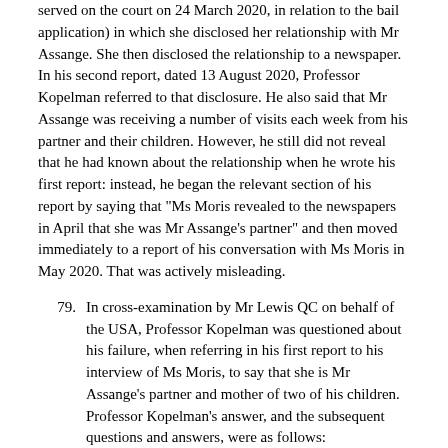served on the court on 24 March 2020, in relation to the bail application) in which she disclosed her relationship with Mr Assange. She then disclosed the relationship to a newspaper. In his second report, dated 13 August 2020, Professor Kopelman referred to that disclosure. He also said that Mr Assange was receiving a number of visits each week from his partner and their children. However, he still did not reveal that he had known about the relationship when he wrote his first report: instead, he began the relevant section of his report by saying that "Ms Moris revealed to the newspapers in April that she was Mr Assange's partner" and then moved immediately to a report of his conversation with Ms Moris in May 2020. That was actively misleading.
79. In cross-examination by Mr Lewis QC on behalf of the USA, Professor Kopelman was questioned about his failure, when referring in his first report to his interview of Ms Moris, to say that she is Mr Assange's partner and mother of two of his children. Professor Kopelman's answer, and the subsequent questions and answers, were as follows:
"A: Well, maybe I did not perform my duty to the court there but I was trying to be diplomatic and respect her privacy.
Q: All right. And is not the fact that she is also